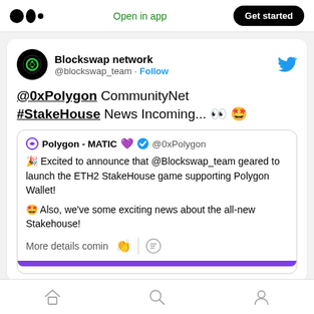Medium app header with logo, Open in app, Get started
[Figure (screenshot): Blockswap network Twitter/social media post embedded in Medium app. Profile: Blockswap network @blockswap_team. Tweet: @0xPolygon CommunityNet #StakeHouse News Incoming... Quoted tweet from Polygon - MATIC @0xPolygon: Excited to announce that @Blockswap_team geared to launch the ETH2 StakeHouse game supporting Polygon Wallet! Also, we've some exciting news about the all-new Stakehouse! More details comin]
Home, Search, Profile navigation icons